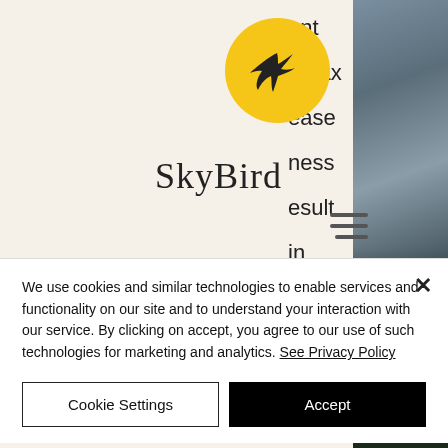[Figure (logo): SkyBird logo: yellow circle with black bird/falcon silhouette flying]
SkyBird
[Figure (other): Mountain landscape with forest silhouette, misty/foggy atmosphere]
…ent omax ease ness esult in int is he
graft therapy.
Joint Restoration – With this technique when we replace a damaged joint, we start at the area where the original joint is injured and…
We use cookies and similar technologies to enable services and functionality on our site and to understand your interaction with our service. By clicking on accept, you agree to our use of such technologies for marketing and analytics. See Privacy Policy